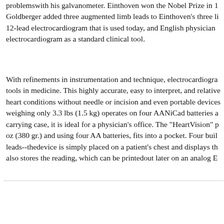problems with his galvanometer. Einthoven won the Nobel Prize in 1 Goldberger added three augmented limb leads to Einthoven's three li 12-lead electrocardiogram that is used today, and English physician electrocardiogram as a standard clinical tool.
With refinements in instrumentation and technique, electrocardiogra tools in medicine. This highly accurate, easy to interpret, and relative heart conditions without needle or incision and even portable devices weighing only 3.3 lbs (1.5 kg) operates on four AANiCad batteries a carrying case, it is ideal for a physician's office. The "HeartVision" p oz (380 gr.) and using four AA batteries, fits into a pocket. Four buil leads--the device is simply placed on a patient's chest and displays th also stores the reading, which can be printed out later on an analog E